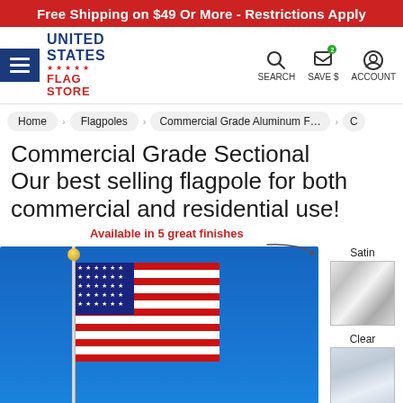Free Shipping on $49 Or More - Restrictions Apply
[Figure (screenshot): United States Flag Store navigation header with hamburger menu, logo, search, save $, and account icons]
Home > Flagpoles > Commercial Grade Aluminum Flag... > C
Commercial Grade Sectional Our best selling flagpole for both commercial and residential use!
[Figure (photo): American flag on a flagpole against blue sky, with finishes samples (Satin, Clear, Bronze) shown on the right side and 'Available in 5 great finishes' label]